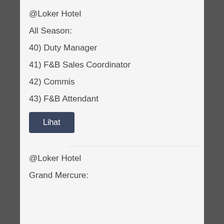@Loker Hotel
All Season:
40) Duty Manager
41) F&B Sales Coordinator
42) Commis
43) F&B Attendant
Lihat
@Loker Hotel
Grand Mercure: